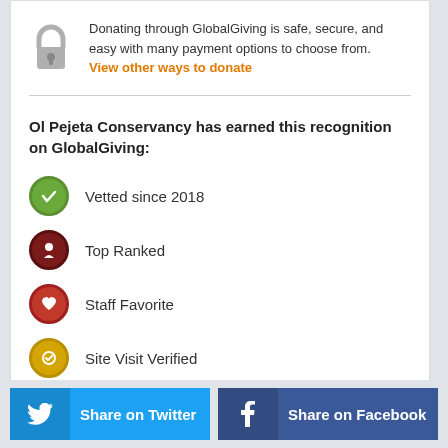Donating through GlobalGiving is safe, secure, and easy with many payment options to choose from. View other ways to donate
Ol Pejeta Conservancy has earned this recognition on GlobalGiving:
Vetted since 2018
Top Ranked
Staff Favorite
Site Visit Verified
Share on Twitter
Share on Facebook